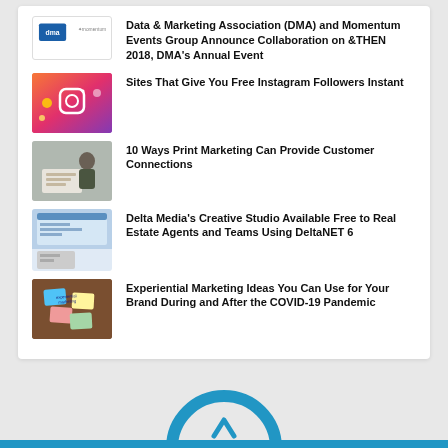Data & Marketing Association (DMA) and Momentum Events Group Announce Collaboration on &THEN 2018, DMA's Annual Event
Sites That Give You Free Instagram Followers Instant
10 Ways Print Marketing Can Provide Customer Connections
Delta Media's Creative Studio Available Free to Real Estate Agents and Teams Using DeltaNET 6
Experiential Marketing Ideas You Can Use for Your Brand During and After the COVID-19 Pandemic
[Figure (illustration): Partial blue arc/circle shape at bottom center of page, above a blue horizontal bar]